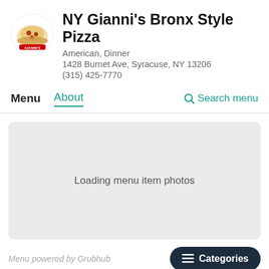NY Gianni's Bronx Style Pizza
American, Dinner
1428 Burnet Ave, Syracuse, NY 13206
(315) 425-7770
Menu   About   🔍 Search menu
[Figure (screenshot): Loading menu item photos placeholder box with gray background]
Menu powered by Grubhub
Categories
Specials